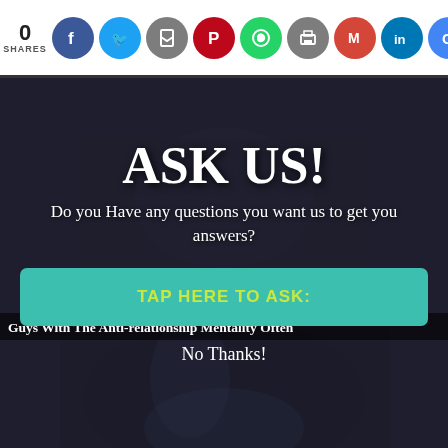0 SHARES
[Figure (screenshot): Social sharing bar with icons: Facebook, Twitter, Save, Pinterest, WhatsApp, Print, Gmail, LinkedIn, Google]
[Figure (photo): Dark photo of a person exercising, partially visible, with overlay modal on top]
ASK US!
Do you Have any questions you want us to get you answers?
Guys With The Anti-relationship Mentality Often
TAP HERE TO ASK:
No Thanks!